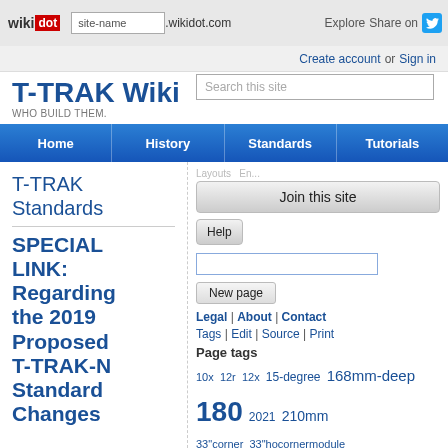wikidot | site-name .wikidot.com | Explore | Share on Twitter
Create account or Sign in
T-TRAK Wiki
WHO BUILD THEM.
Home | History | Standards | Tutorials
T-TRAK Standards
SPECIAL LINK: Regarding the 2019 Proposed T-TRAK-N Standard Changes
Join this site
Help
New page
Legal | About | Contact
Tags | Edit | Source | Print
Page tags
10x 12r 12x 15-degree 168mm-deep 180 2021 210mm 33"corner 33"hocornermodule 33_to_25 3d 3-doubles 3dprinted 3dprinter 3dprinting 3lines 3tracks